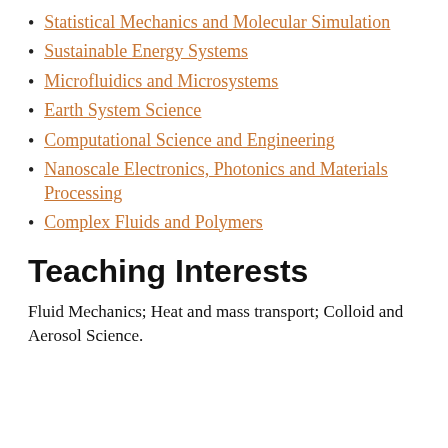Statistical Mechanics and Molecular Simulation
Sustainable Energy Systems
Microfluidics and Microsystems
Earth System Science
Computational Science and Engineering
Nanoscale Electronics, Photonics and Materials Processing
Complex Fluids and Polymers
Teaching Interests
Fluid Mechanics; Heat and mass transport; Colloid and Aerosol Science.